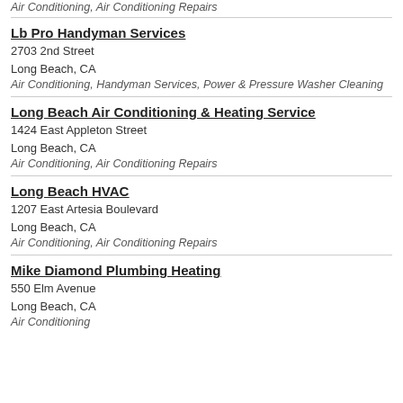Air Conditioning, Air Conditioning Repairs
Lb Pro Handyman Services
2703 2nd Street
Long Beach, CA
Air Conditioning, Handyman Services, Power & Pressure Washer Cleaning
Long Beach Air Conditioning & Heating Service
1424 East Appleton Street
Long Beach, CA
Air Conditioning, Air Conditioning Repairs
Long Beach HVAC
1207 East Artesia Boulevard
Long Beach, CA
Air Conditioning, Air Conditioning Repairs
Mike Diamond Plumbing Heating
550 Elm Avenue
Long Beach, CA
Air Conditioning